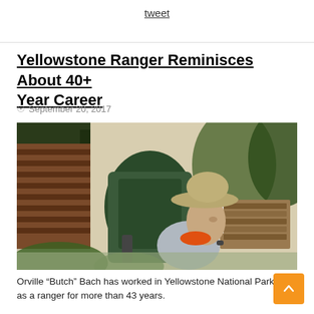tweet
Yellowstone Ranger Reminisces About 40+ Year Career
September 20, 2017
[Figure (photo): A man wearing a wide-brimmed hat and carrying a large green backpack, looking over his shoulder. Behind him is a log cabin structure and a stack of firewood.]
Orville “Butch” Bach has worked in Yellowstone National Park as a ranger for more than 43 years.